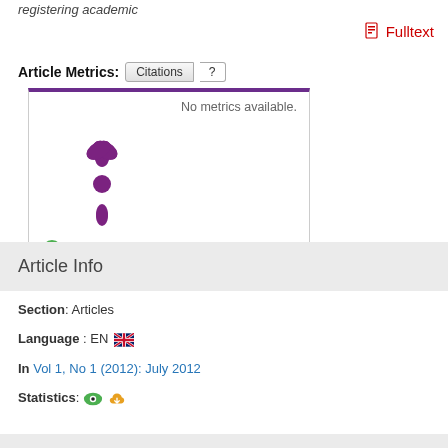registering academic
Fulltext
Article Metrics: Citations ?
[Figure (infographic): PlumX metrics widget showing 'No metrics available.' with a purple asterisk/splat logo and a link 'PLUMX - see details']
Article Info
Section: Articles
Language : EN
In Vol 1, No 1 (2012): July 2012
Statistics: